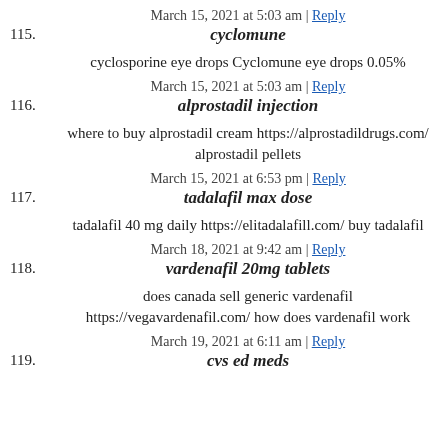115. March 15, 2021 at 5:03 am | Reply
cyclomune
cyclosporine eye drops Cyclomune eye drops 0.05%
116. March 15, 2021 at 5:03 am | Reply
alprostadil injection
where to buy alprostadil cream https://alprostadildrugs.com/ alprostadil pellets
117. March 15, 2021 at 6:53 pm | Reply
tadalafil max dose
tadalafil 40 mg daily https://elitadalafill.com/ buy tadalafil
118. March 18, 2021 at 9:42 am | Reply
vardenafil 20mg tablets
does canada sell generic vardenafil https://vegavardenafil.com/ how does vardenafil work
119. March 19, 2021 at 6:11 am | Reply
cvs ed meds